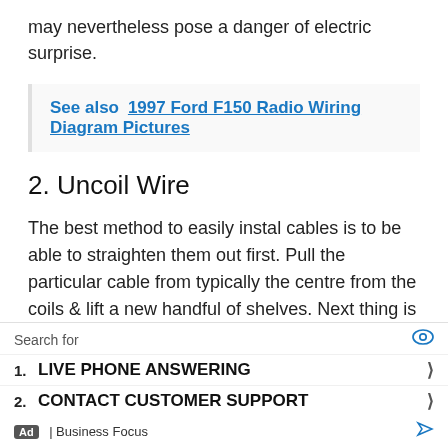may nevertheless pose a danger of electric surprise.
See also  1997 Ford F150 Radio Wiring Diagram Pictures
2. Uncoil Wire
The best method to easily instal cables is to be able to straighten them out first. Pull the particular cable from typically the centre from the coils & lift a new handful of shelves. Next thing is to toss them across the floor as though you'...ed, it he... spac...
Ad overlay: Search for — 1. LIVE PHONE ANSWERING  2. CONTACT CUSTOMER SUPPORT — Business Focus